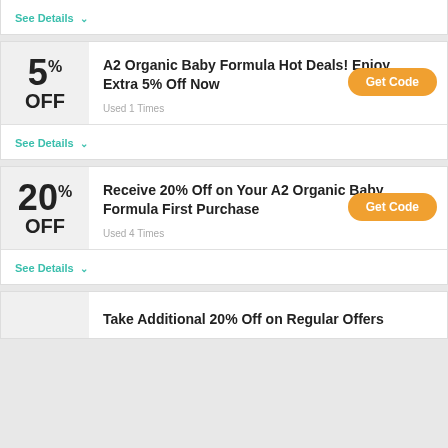See Details
A2 Organic Baby Formula Hot Deals! Enjoy Extra 5% Off Now
Used 1 Times
See Details
Receive 20% Off on Your A2 Organic Baby Formula First Purchase
Used 4 Times
See Details
Take Additional 20% Off on Regular Offers